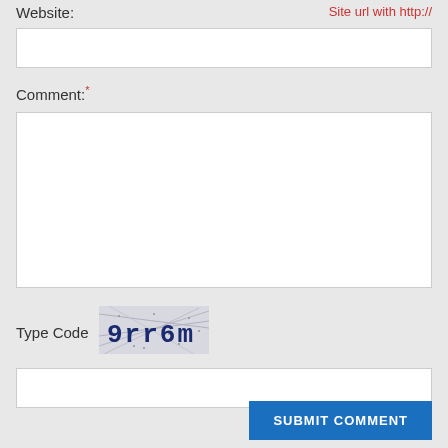Website:
Site url with http://
[Figure (other): Empty text input field for website URL]
Comment:*
[Figure (other): Large empty textarea for comment input]
Type Code
[Figure (other): CAPTCHA image showing text '9rr6m' with noisy background]
[Figure (other): Empty text input field for CAPTCHA code]
SUBMIT COMMENT